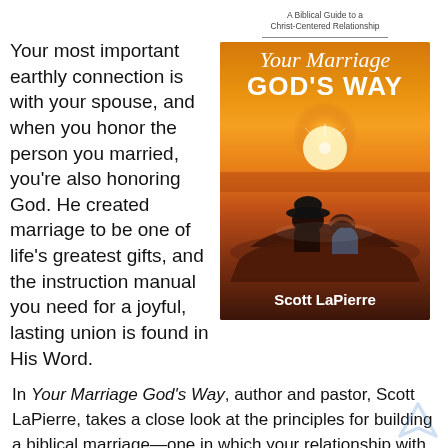Your most important earthly connection is with your spouse, and when you honor the person you married, you're also honoring God. He created marriage to be one of life's greatest gifts, and the instruction manual you need for a joyful, lasting union is found in His Word.
[Figure (illustration): Book cover for 'Your Marriage God's Way: A Biblical Guide to a Christ-Centered Relationship' by Scott LaPierre. Features a couple in a convertible car at sunset, silhouetted against a warm orange and golden sky.]
In Your Marriage God's Way, author and pastor, Scott LaPierre, takes a close look at the principles for building a biblical marriage—one in which your relationship with Christ brings guidance and blessing into your relationship with your spouse. You'll gain the